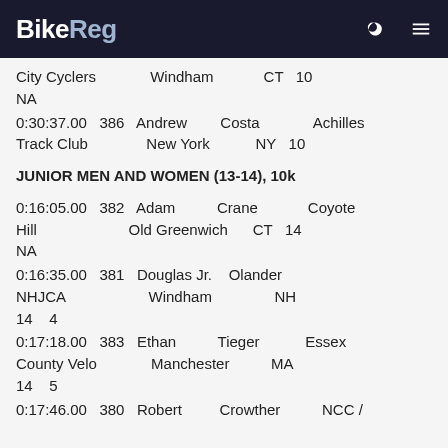BikeReg
City Cyclers   Windham   CT   10
NA
0:30:37.00   386   Andrew   Costa   Achilles Track Club   New York   NY   10
JUNIOR MEN AND WOMEN (13-14), 10k
0:16:05.00   382   Adam   Crane   Coyote Hill   Old Greenwich   CT   14
NA
0:16:35.00   381   Douglas Jr.   Olander   NHJCA   Windham   NH   14   4
0:17:18.00   383   Ethan   Tieger   Essex County Velo   Manchester   MA   14   5
0:17:46.00   380   Robert   Crowther   NCC /